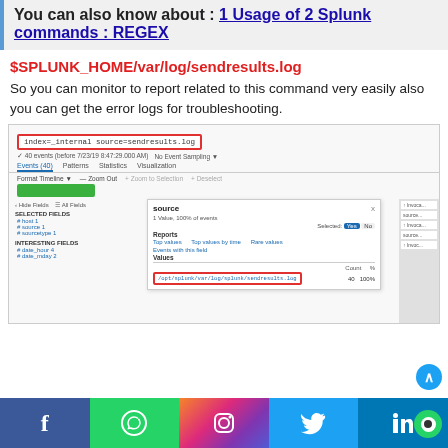You can also know about : 1 Usage of 2 Splunk commands : REGEX
$SPLUNK_HOME/var/log/sendresults.log
So you can monitor to report related to this command very easily also you can get the error logs for troubleshooting.
[Figure (screenshot): Splunk search interface showing search for index=_internal source=sendresults.log with 40 events, and a popup showing source field values with /opt/splunk/var/log/splunk/sendresults.log highlighted in a red border box]
Social media icons: Facebook, WhatsApp, Instagram, Twitter, LinkedIn